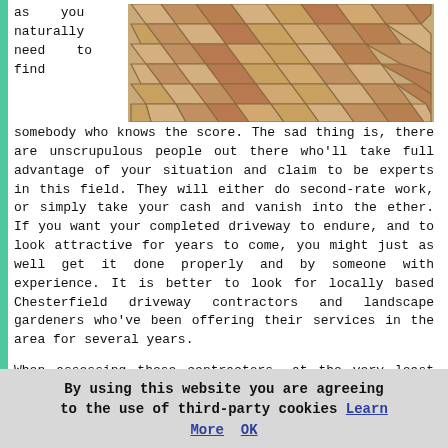as you naturally need to find somebody who knows the score. The sad thing is, there are unscrupulous people out there who'll take full advantage of your situation and claim to be experts in this field. They will either do second-rate work, or simply take your cash and vanish into the ether. If you want your completed driveway to endure, and to look attractive for years to come, you might just as well get it done properly and by someone with experience. It is better to look for locally based Chesterfield driveway contractors and landscape gardeners who've been offering their services in the area for several years.
[Figure (photo): A photo of an outdoor paved/brick driveway with a herringbone or diagonal pattern in tan, beige, and brown tones.]
When assessing these contractors, at the very least you should ascertain how long they have been in operation, ask what warranties they offer on their work, ask to look at a portfolio of recent projects, ask for some references from previous clients, check that they have adequate insurance protection and ask if they are part of an official trade body such as ANTSCA.
By using this website you are agreeing to the use of third-party cookies Learn More OK